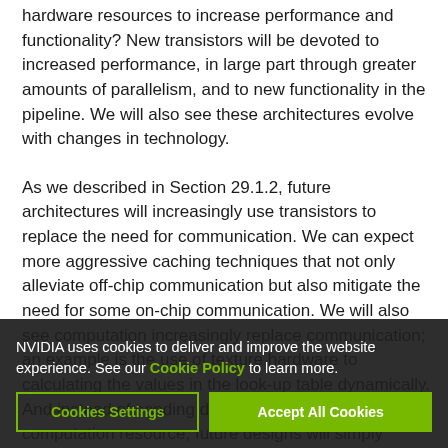hardware resources to increase performance and functionality? New transistors will be devoted to increased performance, in large part through greater amounts of parallelism, and to new functionality in the pipeline. We will also see these architectures evolve with changes in technology.
As we described in Section 29.1.2, future architectures will increasingly use transistors to replace the need for communication. We can expect more aggressive caching techniques that not only alleviate off-chip communication but also mitigate the need for some on-chip communication. We will also see computation increasingly replace communication; an example is the use of texture hardware to calculate the values in the look-up table dynamically. And instead of sending data to a distant on-chip computation resource, future designs will simply replicate the resource and compute locally. In the
NVIDIA uses cookies to deliver and improve the website experience. See our Cookie Policy to learn more.
Cookies Settings | Accept All Cookies